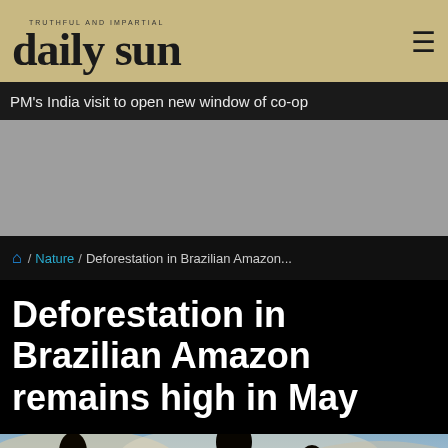daily sun — TRUTHFUL AND IMPARTIAL
PM's India visit to open new window of co-op
[Figure (other): Gray advertisement placeholder bar]
/ Nature / Deforestation in Brazilian Amazon...
Deforestation in Brazilian Amazon remains high in May
[Figure (photo): Photograph of Amazon rainforest on fire with smoke, flames, and tall trees silhouetted against a hazy sky]